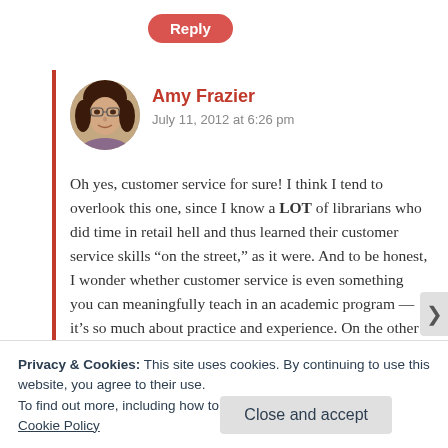[Figure (other): Red pill-shaped Reply button at top center]
[Figure (photo): Circular avatar photo of Amy Frazier, a woman with dark hair]
Amy Frazier
July 11, 2012 at 6:26 pm
Oh yes, customer service for sure! I think I tend to overlook this one, since I know a LOT of librarians who did time in retail hell and thus learned their customer service skills “on the street,” as it were. And to be honest, I wonder whether customer service is even something you can meaningfully teach in an academic program — it’s so much about practice and experience. On the other hand, the same is true of reference, and
Privacy & Cookies: This site uses cookies. By continuing to use this website, you agree to their use.
To find out more, including how to control cookies, see here:
Cookie Policy
Close and accept